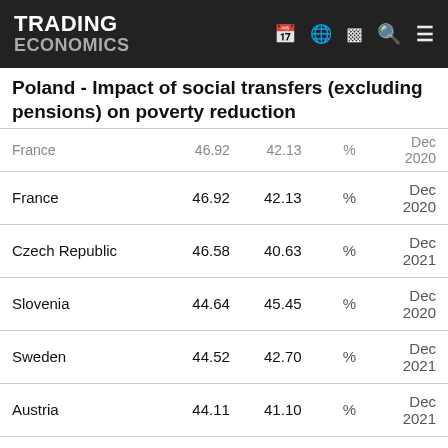TRADING ECONOMICS
Poland - Impact of social transfers (excluding pensions) on poverty reduction
| Country | Value | Previous | Unit | Date |
| --- | --- | --- | --- | --- |
| France | 46.92 | 42.13 | % | Dec 2020 |
| France | 46.92 | 42.13 | % | Dec 2020 |
| Czech Republic | 46.58 | 40.63 | % | Dec 2021 |
| Slovenia | 44.64 | 45.45 | % | Dec 2020 |
| Sweden | 44.52 | 42.70 | % | Dec 2021 |
| Austria | 44.11 | 41.10 | % | Dec 2021 |
| Austria | 44.11 | 41.10 | % | Dec 2021 |
| Hungary | 44.09 | 38.50 | % | Dec 2020 |
| Germany | 40.60 | 34.55 | % | Dec 2021 |
| Germany | 40.60 | 34.55 | % | Dec 2021 |